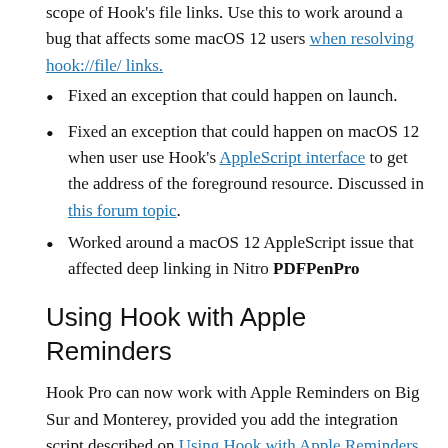scope of Hook's file links. Use this to work around a bug that affects some macOS 12 users when resolving hook://file/ links.
Fixed an exception that could happen on launch.
Fixed an exception that could happen on macOS 12 when user use Hook's AppleScript interface to get the address of the foreground resource. Discussed in this forum topic.
Worked around a macOS 12 AppleScript issue that affected deep linking in Nitro PDFPenPro
Using Hook with Apple Reminders
Hook Pro can now work with Apple Reminders on Big Sur and Monterey, provided you add the integration script described on Using Hook with Apple Reminders. The rationale for this extra step is explained on that web page along with caveats (essentially: it's a UI-scripted solution). Good news: the links